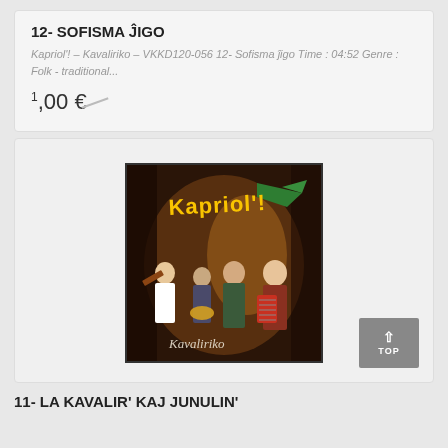12- SOFISMA ĴIGO
Kapriol'! – Kavaliriko – VKKD120-056 12- Sofisma ĵigo Time : 04:52 Genre : Folk - traditional...
1,00 €
[Figure (photo): Album cover for Kapriol'! by Kavaliriko. Shows a band of musicians with violins, accordion, and drum against a warm-lit background. The album title 'Kapriol'!' is written in yellow/gold text with a green banner. 'Kavaliriko' is written at the bottom in cursive.]
11- LA KAVALIR' KAJ JUNULIN'